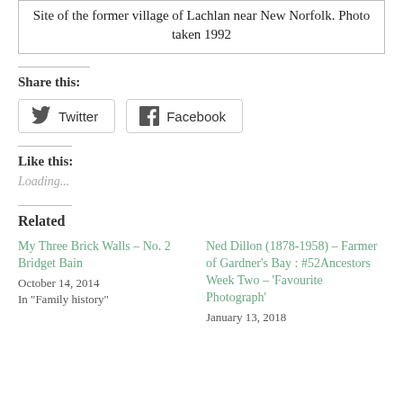Site of the former village of Lachlan near New Norfolk. Photo taken 1992
Share this:
Twitter   Facebook
Like this:
Loading...
Related
My Three Brick Walls – No. 2 Bridget Bain
October 14, 2014
In "Family history"
Ned Dillon (1878-1958) – Farmer of Gardner's Bay : #52Ancestors Week Two – 'Favourite Photograph'
January 13, 2018